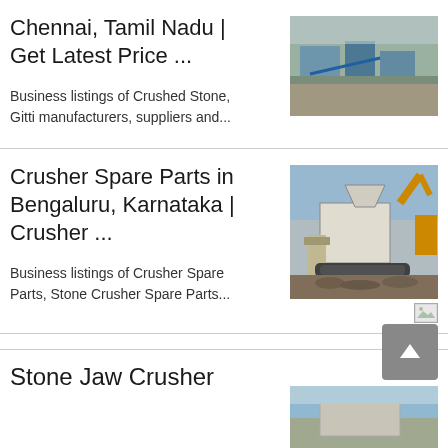Chennai, Tamil Nadu | Get Latest Price ...
Business listings of Crushed Stone, Gitti manufacturers, suppliers and...
[Figure (photo): Aerial view of a stone crushing plant with machinery and crushed stone]
Crusher Spare Parts in Bengaluru, Karnataka | Crusher ...
Business listings of Crusher Spare Parts, Stone Crusher Spare Parts...
[Figure (photo): Large mobile crusher machine at a construction/quarry site]
[Figure (photo): Small broken image icon]
Stone Jaw Crusher